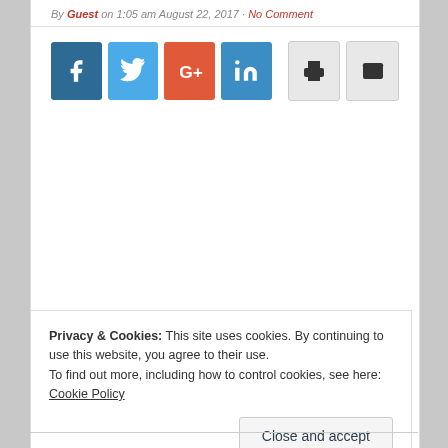By Guest on 1:05 am August 22, 2017 · No Comment
[Figure (infographic): Social share buttons: Facebook (dark blue), Twitter (light blue), Google+ (red-orange), LinkedIn (blue), Print (light gray), Email (light gray)]
Privacy & Cookies: This site uses cookies. By continuing to use this website, you agree to their use. To find out more, including how to control cookies, see here: Cookie Policy
Close and accept